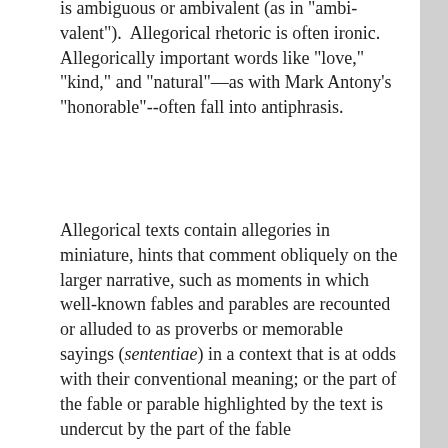is ambiguous or ambivalent (as in "ambi-valent").  Allegorical rhetoric is often ironic. Allegorically important words like "love," "kind," and "natural"—as with Mark Antony's “honorable”--often fall into antiphrasis.
Allegorical texts contain allegories in miniature, hints that comment obliquely on the larger narrative, such as moments in which well-known fables and parables are recounted or alluded to as proverbs or memorable sayings (sententiae) in a context that is at odds with their conventional meaning; or the part of the fable or parable highlighted by the text is undercut by the part of the fable